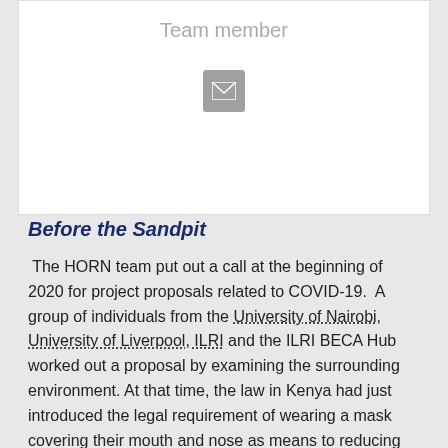Team member
[Figure (other): Email icon button (envelope icon on grey square background)]
Before the Sandpit
The HORN team put out a call at the beginning of 2020 for project proposals related to COVID-19. A group of individuals from the University of Nairobi, University of Liverpool, ILRI and the ILRI BECA Hub worked out a proposal by examining the surrounding environment. At that time, the law in Kenya had just introduced the legal requirement of wearing a mask covering their mouth and nose as means to reducing transmission of COVID-19. As a team we decided to